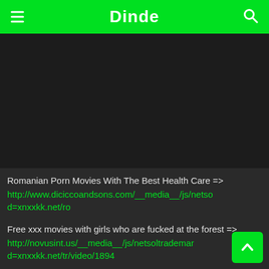Dinde
[Figure (other): Dark video player area]
Romanian Porn Movies With The Best Health Care =>
http://www.diciccoandsons.com/__media__/js/netsol...d=xnxxkk.net/ro
Free xxx movies with girls who are fucked at the forest =>
http://novusint.us/__media__/js/netsoltradema...d=xnxxkk.net/tr/video/1894